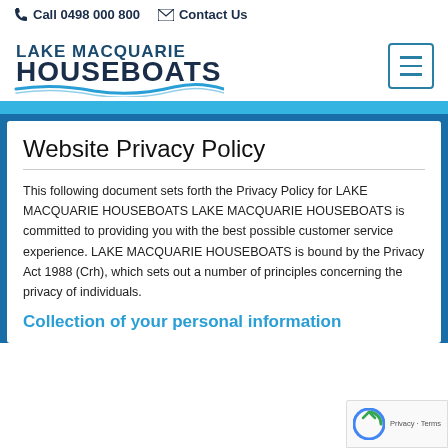Call 0498 000 800   Contact Us
[Figure (logo): Lake Macquarie Houseboats logo with wave graphic and hamburger menu icon]
Website Privacy Policy
This following document sets forth the Privacy Policy for LAKE MACQUARIE HOUSEBOATS LAKE MACQUARIE HOUSEBOATS is committed to providing you with the best possible customer service experience. LAKE MACQUARIE HOUSEBOATS is bound by the Privacy Act 1988 (Crh), which sets out a number of principles concerning the privacy of individuals.
Collection of your personal information